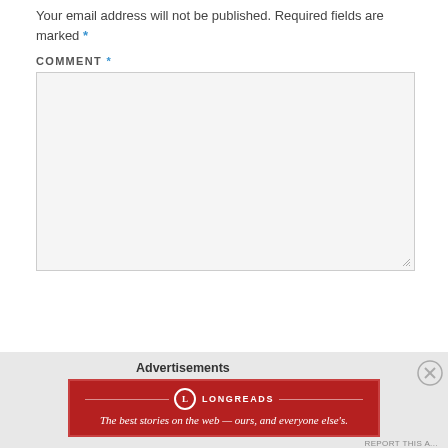Your email address will not be published. Required fields are marked *
COMMENT *
[Figure (other): Empty comment textarea input box with resize handle]
Advertisements
[Figure (other): Longreads advertisement banner: The best stories on the web — ours, and everyone else's.]